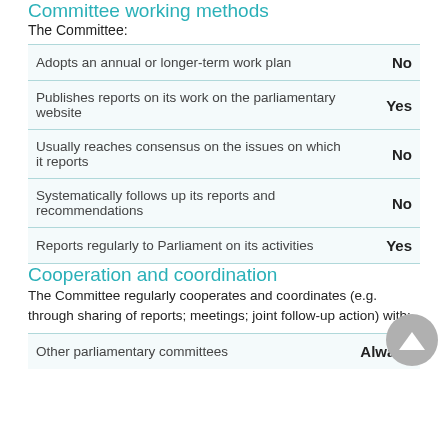Committee working methods
The Committee:
|  |  |
| --- | --- |
| Adopts an annual or longer-term work plan | No |
| Publishes reports on its work on the parliamentary website | Yes |
| Usually reaches consensus on the issues on which it reports | No |
| Systematically follows up its reports and recommendations | No |
| Reports regularly to Parliament on its activities | Yes |
Cooperation and coordination
The Committee regularly cooperates and coordinates (e.g. through sharing of reports; meetings; joint follow-up action) with:
|  |  |
| --- | --- |
| Other parliamentary committees | Always |